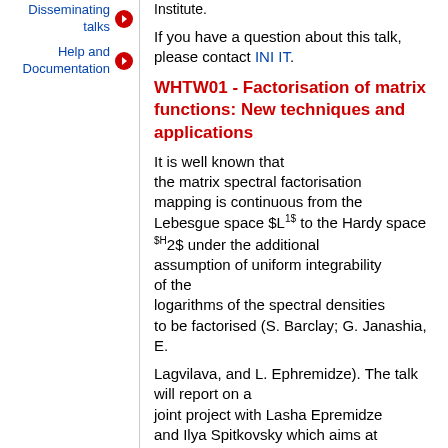Disseminating talks →
Help and Documentation →
If you have a question about this talk, please contact INI IT.
WHTW01 - Factorisation of matrix functions: New techniques and applications
It is well known that the matrix spectral factorisation mapping is continuous from the Lebesgue space $L^1$ to the Hardy space $H_2$ under the additional assumption of uniform integrability of the logarithms of the spectral densities to be factorised (S. Barclay; G. Janashia, E.
Lagvilava, and L. Ephremidze). The talk will report on a joint project with Lasha Epremidze and Ilya Spitkovsky which aims at